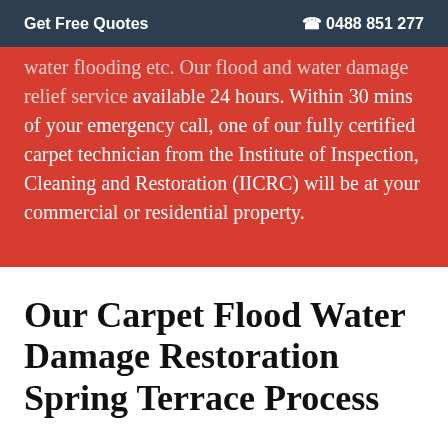Get Free Quotes   0488 851 277
water flooding etc. Our flood and water damage relief service available 24 hours. Within 30 mins of your emergency call, one of our fully certified carpet technician from the Institute of Inspection, Cleaning and Restoration (IICRC) will be at your commercial or residential property.
Our Carpet Flood Water Damage Restoration Spring Terrace Process
Address the source of moisture: Our Carpet Flood